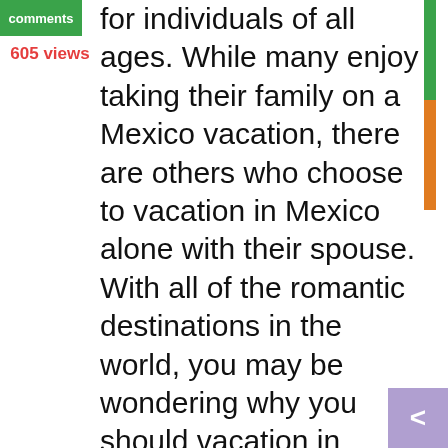comments
605 views
for individuals of all ages. While many enjoy taking their family on a Mexico vacation, there are others who choose to vacation in Mexico alone with their spouse. With all of the romantic destinations in the world, you may be wondering why you should vacation in Mexico. Romantic getaways in Mexico ... you choose another location, you are sure to enjoy your trip. With all that it has to offer, Mexico can easily be considered a lovers paradise.